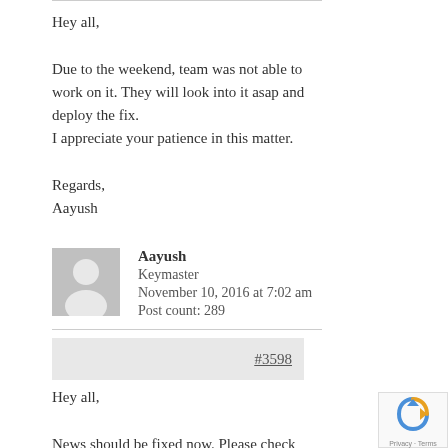Hey all,

Due to the weekend, team was not able to work on it. They will look into it asap and deploy the fix.
I appreciate your patience in this matter.

Regards,
Aayush
Aayush
Keymaster
November 10, 2016 at 7:02 am
Post count: 289
#3598
Hey all,

News should be fixed now. Please check and let me know if you are still facing issues.

Thanks!